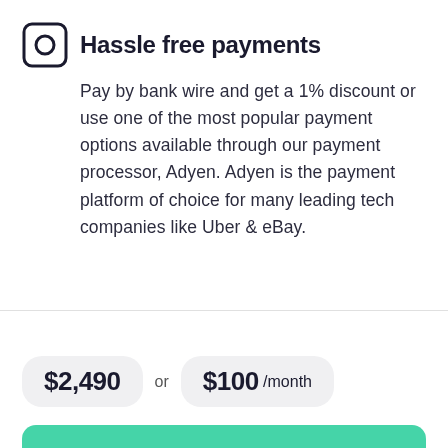Hassle free payments
Pay by bank wire and get a 1% discount or use one of the most popular payment options available through our payment processor, Adyen. Adyen is the payment platform of choice for many leading tech companies like Uber & eBay.
$2,490 or $100 /month
Buy